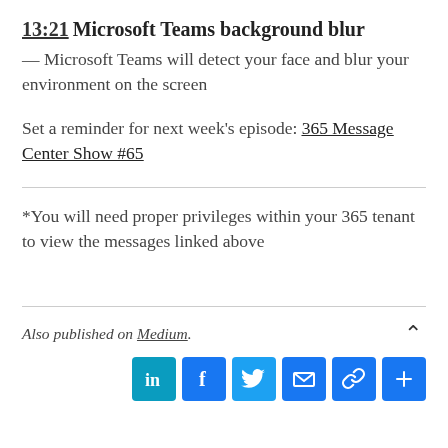13:21 Microsoft Teams background blur
— Microsoft Teams will detect your face and blur your environment on the screen
Set a reminder for next week's episode: 365 Message Center Show #65
*You will need proper privileges within your 365 tenant to view the messages linked above
Also published on Medium.
[Figure (infographic): Social sharing icons: LinkedIn, Facebook, Twitter, Email, Link, Plus]